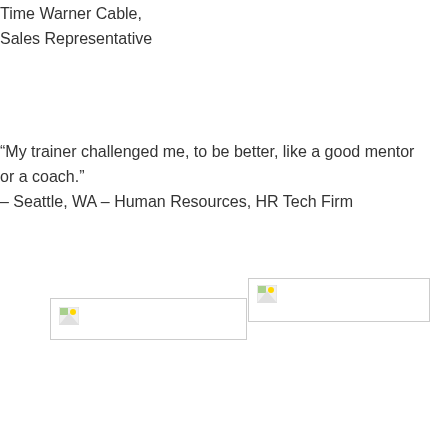Time Warner Cable,
Sales Representative
“My trainer challenged me, to be better, like a good mentor or a coach.”
– Seattle, WA – Human Resources, HR Tech Firm
[Figure (photo): Broken image placeholder 1]
[Figure (photo): Broken image placeholder 2]